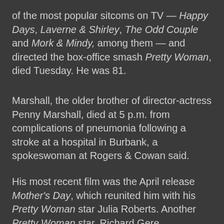of the most popular sitcoms on TV — Happy Days, Laverne & Shirley, The Odd Couple and Mork & Mindy, among them — and directed the box-office smash Pretty Woman, died Tuesday. He was 81.
Marshall, the older brother of director-actress Penny Marshall, died at 5 p.m. from complications of pneumonia following a stroke at a hospital in Burbank, a spokeswoman at Rogers & Cowan said.
His most recent film was the April release Mother's Day, which reunited him with his Pretty Woman star Julia Roberts. Another Pretty Woman star, Richard Gere, remembered Marshall in a statement sent to The Hollywood Reporter:
"One of...